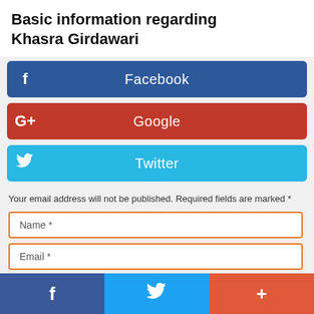Basic information regarding Khasra Girdawari
[Figure (infographic): Facebook login/share button bar (blue, #2d5899) with 'f' icon and 'Facebook' label in white]
[Figure (infographic): Google+ login/share button bar (red, #c0392b) with 'G+' icon and 'Google' label in white]
[Figure (infographic): Twitter login/share button bar (cyan, #29b7e4) with bird icon and 'Twitter' label in white]
Your email address will not be published. Required fields are marked *
Name *
Email *
Write a comment *
[Figure (infographic): Bottom social share bar with Facebook (dark blue), Twitter (blue), and plus/share (orange-red) icons]